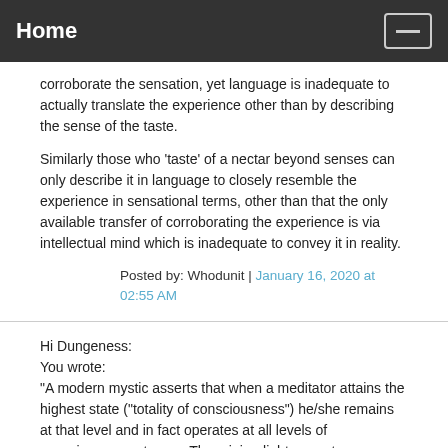Home
corroborate the sensation, yet language is inadequate to actually translate the experience other than by describing the sense of the taste.
Similarly those who 'taste' of a nectar beyond senses can only describe it in language to closely resemble the experience in sensational terms, other than that the only available transfer of corroborating the experience is via intellectual mind which is inadequate to convey it in reality.
Posted by: Whodunit | January 16, 2020 at 02:55 AM
Hi Dungeness:
You wrote:
"A modern mystic asserts that when a meditator attains the highest state ("totality of consciousness") he/she remains at that level and in fact operates at all levels of consciousness at once. The mini-enlightenment